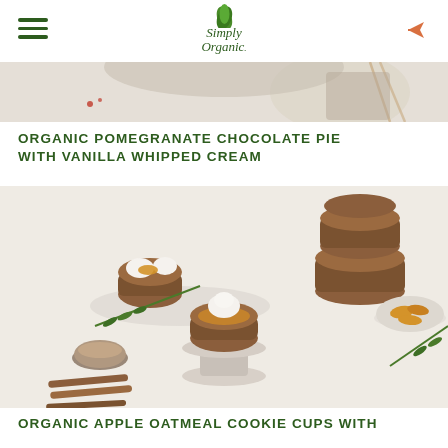Simply Organic logo with hamburger menu and share icon
[Figure (photo): Top portion of a dessert photo showing a pomegranate chocolate pie with vanilla whipped cream on a white background, partially cropped]
ORGANIC POMEGRANATE CHOCOLATE PIE WITH VANILLA WHIPPED CREAM
[Figure (photo): Photo of organic apple oatmeal cookie cups on white cake stands and plates, topped with sautéed apple slices and whipped cream, with rosemary sprigs, cinnamon sticks, and small bowl of cinnamon on a white marble surface]
ORGANIC APPLE OATMEAL COOKIE CUPS WITH